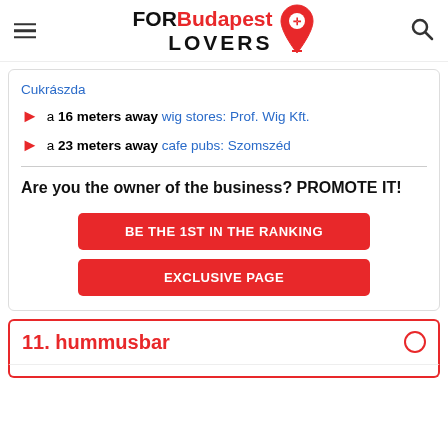FORBudapest LOVERS
Cukrászda
a 16 meters away wig stores: Prof. Wig Kft.
a 23 meters away cafe pubs: Szomszéd
Are you the owner of the business? PROMOTE IT!
BE THE 1ST IN THE RANKING
EXCLUSIVE PAGE
11. hummusbar